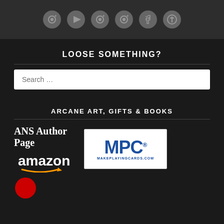[Figure (illustration): Row of five circular social media icon buttons in gray on a dark gray background bar]
LOOSE SOMETHING?
[Figure (other): Search input field with placeholder text 'Search ...']
ARCANE ART, GIFTS & BOOKS
[Figure (logo): ANS Author Page Amazon logo combined with MPC MakePlayingCards.com logo]
[Figure (logo): Partial red circle logo at bottom left]